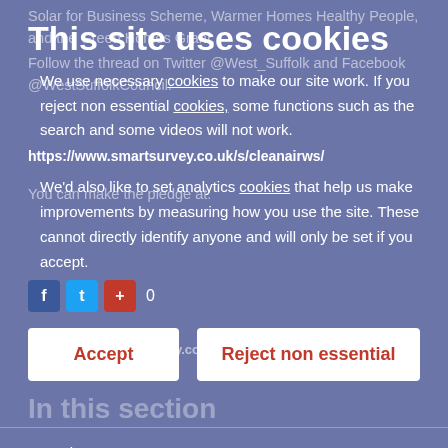Solar for Business Scheme, Warmer Homes Healthy People, and the Green Homes Grant.
This site uses cookies
Follow the thread on Twitter @West_Suffolk and Facebook @WestSuffolkCouncil.
We use necessary cookies to make our site work. If you reject non essential cookies, some functions such as the search and some videos will not work.
https://www.smartsurvey.co.uk/s/cleanairws/
We'd also like to set analytics cookies that help us make improvements by measuring how you use the site. These cannot directly identify anyone and will only be set if you accept.
Posted in categories: press release, news
0
In this section
News last year
Press releases